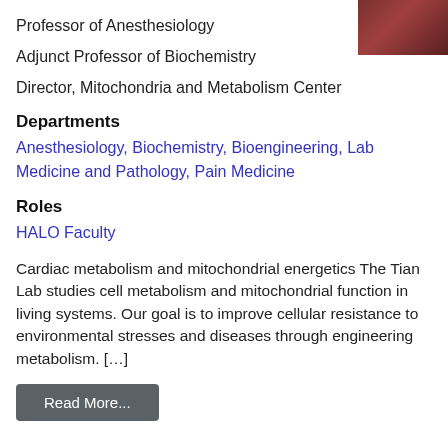[Figure (photo): Headshot photo of a person in upper right corner]
Professor of Anesthesiology
Adjunct Professor of Biochemistry
Director, Mitochondria and Metabolism Center
Departments
Anesthesiology, Biochemistry, Bioengineering, Lab Medicine and Pathology, Pain Medicine
Roles
HALO Faculty
Cardiac metabolism and mitochondrial energetics The Tian Lab studies cell metabolism and mitochondrial function in living systems. Our goal is to improve cellular resistance to environmental stresses and diseases through engineering metabolism. […]
Read More...